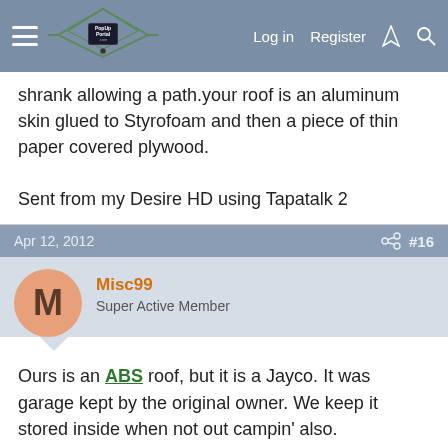PopUpPortal.com — Log in | Register
shrank allowing a path.your roof is an aluminum skin glued to Styrofoam and then a piece of thin paper covered plywood.

Sent from my Desire HD using Tapatalk 2
Apr 12, 2012  #16
Misc99
Super Active Member
Ours is an ABS roof, but it is a Jayco. It was garage kept by the original owner. We keep it stored inside when not out campin' also.
Apr 12, 2012  #17
dschlosser
Super Active Member